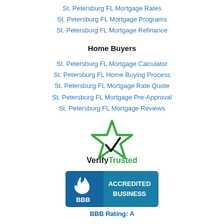St. Petersburg FL Mortgage Rates
St. Petersburg FL Mortgage Programs
St. Petersburg FL Mortgage Refinance
Home Buyers
St. Petersburg FL Mortgage Calculator
St. Petersburg FL Home Buying Process
St. Petersburg FL Mortgage Rate Quote
St. Petersburg FL Mortgage Pre-Approval
St. Petersburg FL Mortgage Reviews
[Figure (logo): VerifyTrusted logo with green star and checkmark]
[Figure (logo): BBB Accredited Business badge with BBB Rating: A]